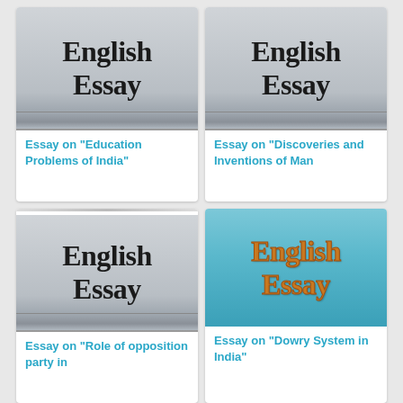[Figure (illustration): English Essay book cover with grey gradient background, black serif text reading 'English Essay']
Essay on “Education Problems of India”
[Figure (illustration): English Essay book cover with grey gradient background, black serif text reading 'English Essay']
Essay on “Discoveries and Inventions of Man
[Figure (illustration): English Essay book cover with grey gradient background, black serif text reading 'English Essay']
Essay on “Role of opposition party in
[Figure (illustration): English Essay book cover with teal gradient background, orange serif text reading 'English Essay']
Essay on “Dowry System in India”